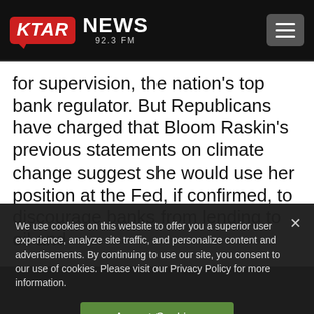KTAR NEWS 92.3 FM
for supervision, the nation’s top bank regulator. But Republicans have charged that Bloom Raskin’s previous statements on climate change suggest she would use her position at the Fed, if confirmed, to discourage banks from lending to oil and
We use cookies on this website to offer you a superior user experience, analyze site traffic, and personalize content and advertisements. By continuing to use our site, you consent to our use of cookies. Please visit our Privacy Policy for more information.
Accept Cookies